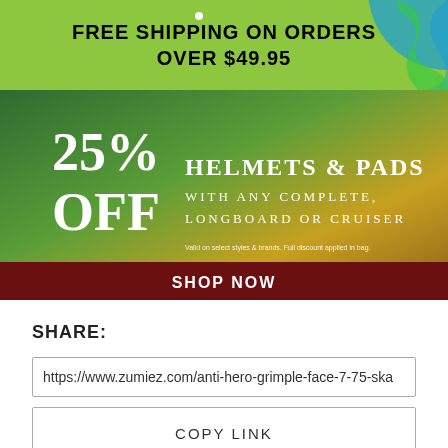FREE SHIPPING ON ORDERS OVER $49.95
[Figure (infographic): Promotional banner: 25% OFF HELMETS & PADS WITH ANY COMPLETE, LONGBOARD OR CRUISER. Valid on select styles & brands. Full discount applied in bag. SHOP NOW button.]
SHARE:
https://www.zumiez.com/anti-hero-grimple-face-7-75-ska
COPY LINK
#Thoughts
TAG IT